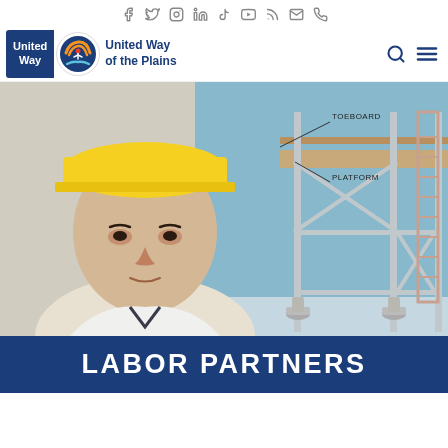Social media icons: Facebook, Twitter, Instagram, LinkedIn, TikTok, YouTube, RSS, Email, Phone
[Figure (logo): United Way of the Plains logo — blue box with 'United Way' text, circular emblem with orange arc and figure, and 'United Way of the Plains' text]
[Figure (photo): Construction worker wearing a yellow hard hat and white shirt, with a scaffold engineering diagram in the background showing labels TOEBOARD and PLATFORM]
LABOR PARTNERS